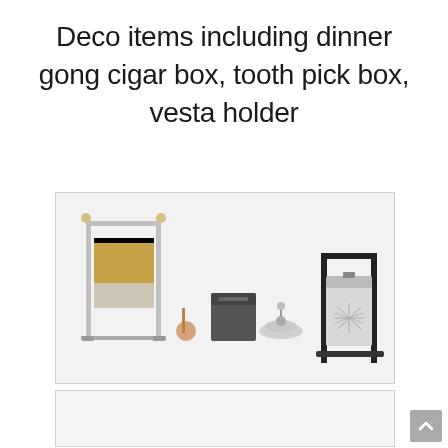Deco items including dinner gong cigar box, tooth pick box, vesta holder
[Figure (photo): Photograph of Art Deco items including a dinner gong with wooden mallet, a small cigar box or tooth pick box, a chrome vesta holder/match striker, and a larger chrome and black box on a stand, all displayed on a white background.]
[Figure (photo): Partially visible second photograph below the first, content not fully visible.]